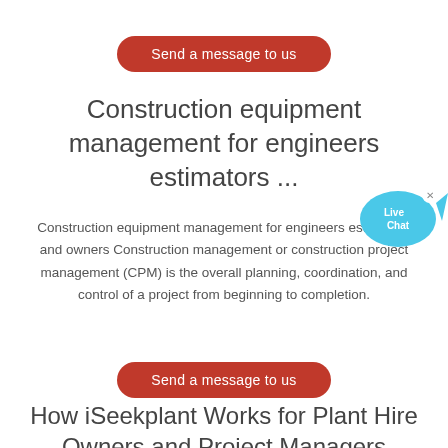Send a message to us
Construction equipment management for engineers estimators ...
Construction equipment management for engineers estimators and owners Construction management or construction project management (CPM) is the overall planning, coordination, and control of a project from beginning to completion.
Send a message to us
How iSeekplant Works for Plant Hire Owners and Project Managers